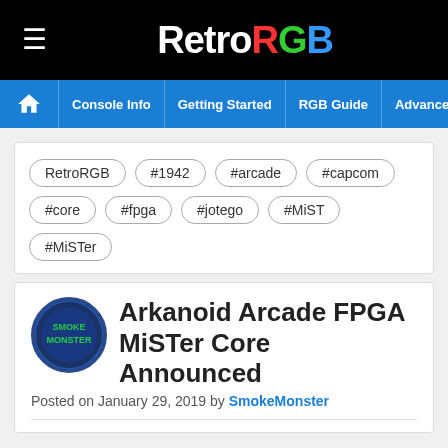RetroRGB — Console Info | Getting Started | RGB Guide | Advanced RGB Info | Ab
RetroRGB
#1942
#arcade
#capcom
#core
#fpga
#jotego
#MiST
#MiSTer
Arkanoid Arcade FPGA MiSTer Core Announced
Posted on January 29, 2019 by SmokeMonster